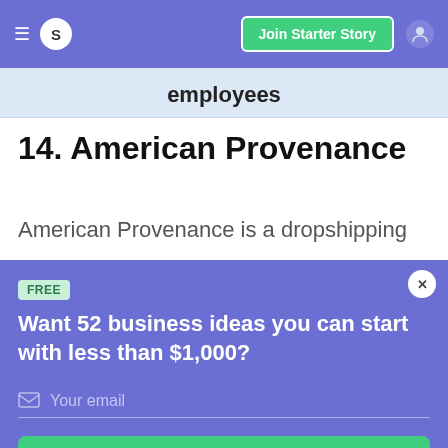S  Join Starter Story
employees
14. American Provenance
American Provenance is a dropshipping
FREE
Want 52 business ideas you can start with less than $1,000?
Your email
Send Now